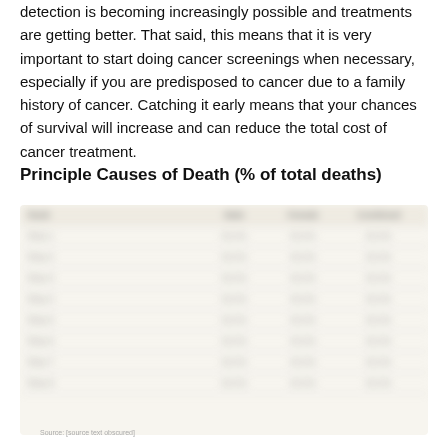detection is becoming increasingly possible and treatments are getting better. That said, this means that it is very important to start doing cancer screenings when necessary, especially if you are predisposed to cancer due to a family history of cancer. Catching it early means that your chances of survival will increase and can reduce the total cost of cancer treatment.
Principle Causes of Death (% of total deaths)
[Figure (table-as-image): Blurred/obscured table showing Principle Causes of Death as percentage of total deaths, with columns for rank/cause, male, female, and combined/total percentages. Table content is not legible due to image blur.]